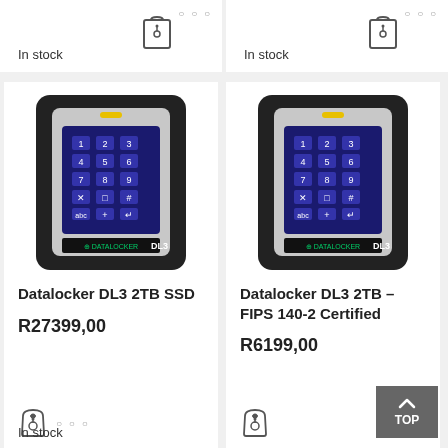In stock
In stock
[Figure (photo): Datalocker DL3 2TB SSD encrypted hard drive with keypad]
Datalocker DL3 2TB SSD
R27399,00
In stock
[Figure (photo): Datalocker DL3 2TB FIPS 140-2 Certified encrypted hard drive with keypad]
Datalocker DL3 2TB – FIPS 140-2 Certified
R6199,00